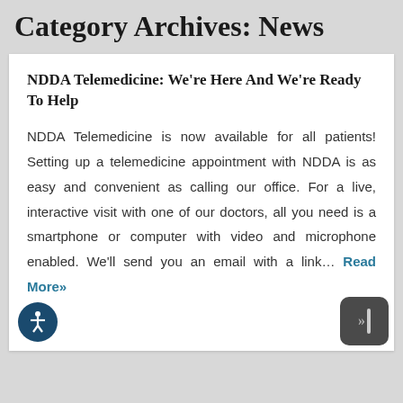Category Archives: News
NDDA Telemedicine: We're Here And We're Ready To Help
NDDA Telemedicine is now available for all patients! Setting up a telemedicine appointment with NDDA is as easy and convenient as calling our office. For a live, interactive visit with one of our doctors, all you need is a smartphone or computer with video and microphone enabled. We'll send you an email with a link… Read More»